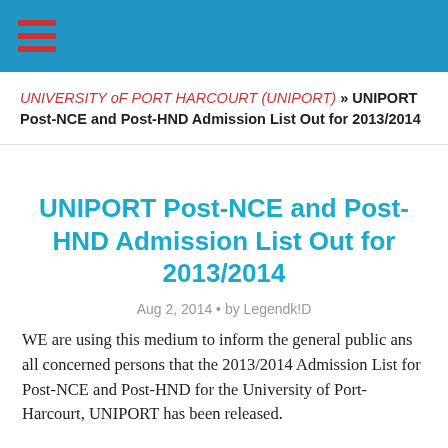≡ (hamburger menu icon)
UNIVERSITY oF PORT HARCOURT (UNIPORT) » UNIPORT Post-NCE and Post-HND Admission List Out for 2013/2014
UNIPORT Post-NCE and Post-HND Admission List Out for 2013/2014
Aug 2, 2014 • by Legendk!D
WE are using this medium to inform the general public ans all concerned persons that the 2013/2014 Admission List for Post-NCE and Post-HND for the University of Port-Harcourt, UNIPORT has been released.